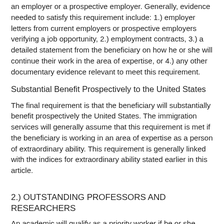an employer or a prospective employer. Generally, evidence needed to satisfy this requirement include: 1.) employer letters from current employers or prospective employers verifying a job opportunity, 2.) employment contracts, 3.) a detailed statement from the beneficiary on how he or she will continue their work in the area of expertise, or 4.) any other documentary evidence relevant to meet this requirement.
Substantial Benefit Prospectively to the United States
The final requirement is that the beneficiary will substantially benefit prospectively the United States. The immigration services will generally assume that this requirement is met if the beneficiary is working in an area of expertise as a person of extraordinary ability. This requirement is generally linked with the indices for extraordinary ability stated earlier in this article.
2.) OUTSTANDING PROFESSORS AND RESEARCHERS
An academic will qualify as a priority worker if he or she